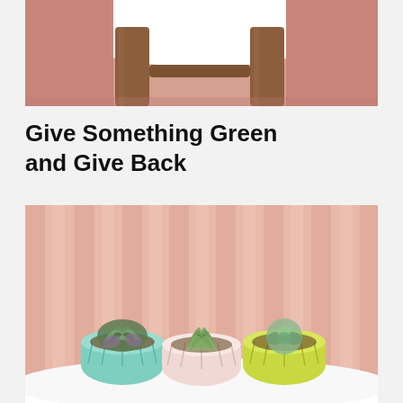[Figure (photo): Top portion of a wooden stool with rose gold/pink metallic background, cropped view showing the seat and legs from below]
Give Something Green and Give Back
[Figure (photo): Three small geometric origami-style ceramic planters with succulents on a white round table against a pink curtain background. Left planter is light blue/mint, middle is pink/white, right is yellow-green/lime.]